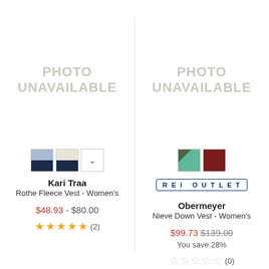[Figure (photo): Photo unavailable placeholder for Kari Traa product]
[Figure (photo): Photo unavailable placeholder for Obermeyer product]
[Figure (other): Color swatches for Kari Traa: blue/navy split and cream/navy split, plus chevron dropdown]
[Figure (other): Color swatches for Obermeyer: camouflage/teal and dark red textured]
REI OUTLET
Kari Traa
Rothe Fleece Vest - Women's
Obermeyer
Nieve Down Vest - Women's
$48.93 - $80.00
$99.73 $139.00 You save 28%
★★★★★ (2)
☆☆☆☆☆ (0)